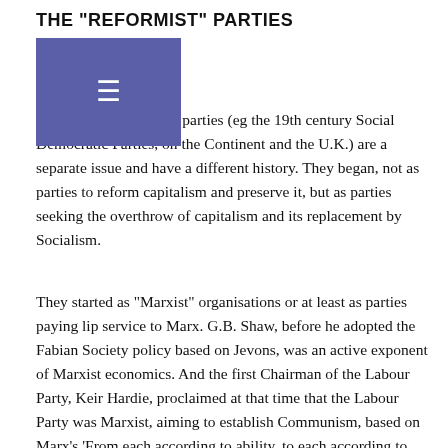THE "REFORMIST" PARTIES
[Figure (other): Navigation hamburger menu button, purple/indigo background]
What we call reformist parties (eg the 19th century Social Democratic Parties, on the Continent and the U.K.) are a separate issue and have a different history. They began, not as parties to reform capitalism and preserve it, but as parties seeking the overthrow of capitalism and its replacement by Socialism.
They started as "Marxist" organisations or at least as parties paying lip service to Marx. G.B. Shaw, before he adopted the Fabian Society policy based on Jevons, was an active exponent of Marxist economics. And the first Chairman of the Labour Party, Keir Hardie, proclaimed at that time that the Labour Party was Marxist, aiming to establish Communism, based on Marx's 'From each according to ability, to each according to need". The line of development of all these 'Social Democratic Parties" has been that they have moved away from their original